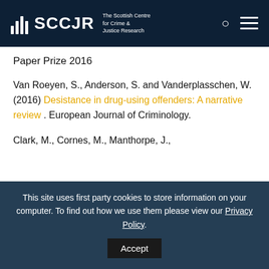SCCJR – The Scottish Centre for Crime & Justice Research
Paper Prize 2016
Van Roeyen, S., Anderson, S. and Vanderplasschen, W. (2016) Desistance in drug-using offenders: A narrative review . European Journal of Criminology.
Clark, M., Cornes, M., Manthorpe, J.,
This site uses first party cookies to store information on your computer. To find out how we use them please view our Privacy Policy.
Accept